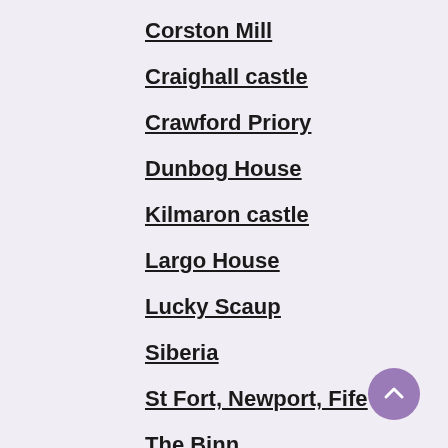Corston Mill
Craighall castle
Crawford Priory
Dunbog House
Kilmaron castle
Largo House
Lucky Scaup
Siberia
St Fort, Newport, Fife
The Binn